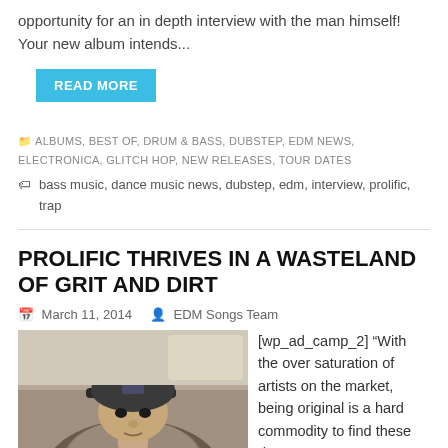opportunity for an in depth interview with the man himself! Your new album intends...
READ MORE
ALBUMS, BEST OF, DRUM & BASS, DUBSTEP, EDM NEWS, ELECTRONICA, GLITCH HOP, NEW RELEASES, TOUR DATES
bass music, dance music news, dubstep, edm, interview, prolific, trap
PROLIFIC THRIVES IN A WASTELAND OF GRIT AND DIRT
March 11, 2014   EDM Songs Team
[Figure (photo): Photo of a man wearing a cap and fur-lined jacket, viewed from a low angle indoors.]
[wp_ad_camp_2] “With the over saturation of artists on the market, being original is a hard commodity to find these days”